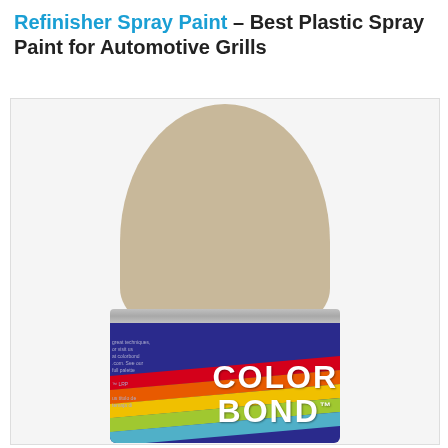Refinisher Spray Paint – Best Plastic Spray Paint for Automotive Grills
[Figure (photo): ColorBond Refinisher Spray Paint can with a beige/tan cap on top and blue body with ColorBond logo and diagonal multicolor stripes (red, orange, yellow, green, blue).]